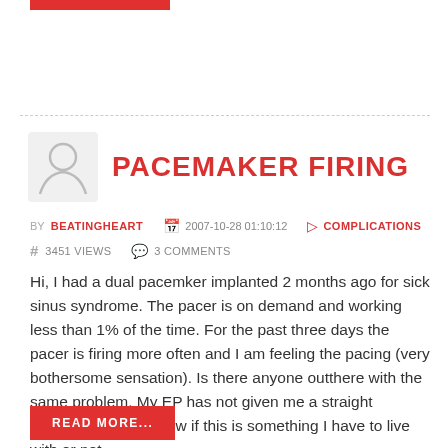PACEMAKER FIRING
BY BEATINGHEART   2007-10-28 01:10:12   COMPLICATIONS   # 3451 VIEWS   3 COMMENTS
Hi, I had a dual pacemker implanted 2 months ago for sick sinus syndrome. The pacer is on demand and working less than 1% of the time. For the past three days the pacer is firing more often and I am feeling the pacing (very bothersome sensation). Is there anyone outthere with the same problem. My EP has not given me a straight answer. I want to know if this is something I have to live with or not.
READ MORE...